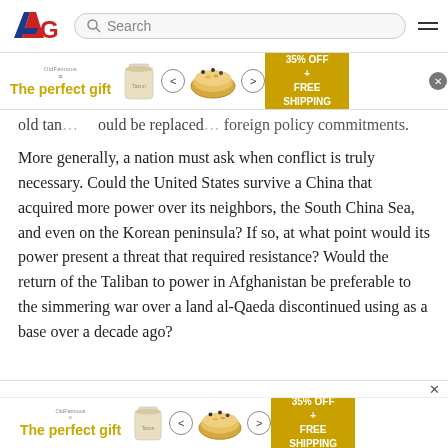AG [logo] | Search [search bar] | [hamburger menu]
[Figure (infographic): Advertisement banner: 'The perfect gift' with product images, navigation arrows, and '35% OFF + FREE SHIPPING' offer. Close button.]
...old tan... ould be replaced... foreign policy commitments.
More generally, a nation must ask when conflict is truly necessary. Could the United States survive a China that acquired more power over its neighbors, the South China Sea, and even on the Korean peninsula? If so, at what point would its power present a threat that required resistance? Would the return of the Taliban to power in Afghanistan be preferable to the simmering war over a land al-Qaeda discontinued using as a base over a decade ago?
[Figure (infographic): Bottom advertisement banner: 'The perfect gift' with product images, navigation arrows, and '35% OFF + FREE SHIPPING' offer. Close button.]